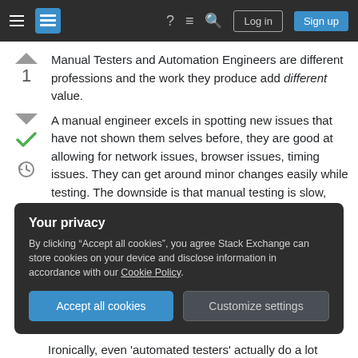[Figure (screenshot): Stack Exchange navigation bar with hamburger menu, logo, help icon, chat icon, search icon, Log in button, and Sign up button on dark background]
Manual Testers and Automation Engineers are different professions and the work they produce add different value.
A manual engineer excels in spotting new issues that have not shown them selves before, they are good at allowing for network issues, browser issues, timing issues. They can get around minor changes easily while testing. The downside is that manual testing is slow, cumbersome and not automated as part of the development process
Your privacy
By clicking “Accept all cookies”, you agree Stack Exchange can store cookies on your device and disclose information in accordance with our Cookie Policy.
Ironically, even 'automated testers' actually do a lot